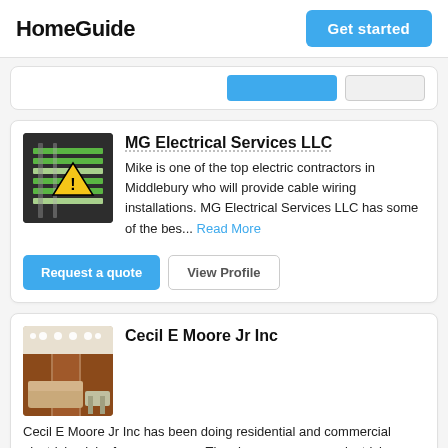HomeGuide | Get started
[Figure (screenshot): Partial card with two buttons (blue and grey) visible at top]
MG Electrical Services LLC
Mike is one of the top electric contractors in Middlebury who will provide cable wiring installations. MG Electrical Services LLC has some of the bes... Read More
Request a quote | View Profile
Cecil E Moore Jr Inc
Cecil E Moore Jr Inc has been doing residential and commercial electrician jobs for many years. They have emergency electricians that help you with j... Read More
Request a quote (partially visible)